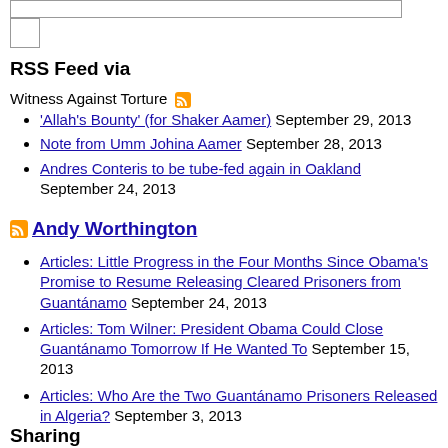RSS Feed via
Witness Against Torture
'Allah's Bounty' (for Shaker Aamer) September 29, 2013
Note from Umm Johina Aamer September 28, 2013
Andres Conteris to be tube-fed again in Oakland September 24, 2013
Andy Worthington
Articles: Little Progress in the Four Months Since Obama's Promise to Resume Releasing Cleared Prisoners from Guantánamo September 24, 2013
Articles: Tom Wilner: President Obama Could Close Guantánamo Tomorrow If He Wanted To September 15, 2013
Articles: Who Are the Two Guantánamo Prisoners Released in Algeria? September 3, 2013
Sharing